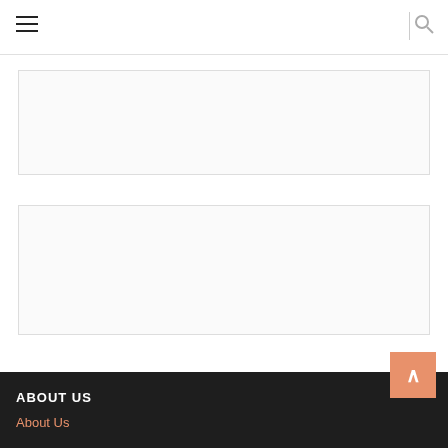Navigation bar with hamburger menu and search icon
[Figure (screenshot): Empty advertisement banner area with light border]
[Figure (screenshot): Blogger navigation bar with Blogger icon (orange B), search box, More dropdown, Create Blog, and Sign In links]
ABOUT US
About Us